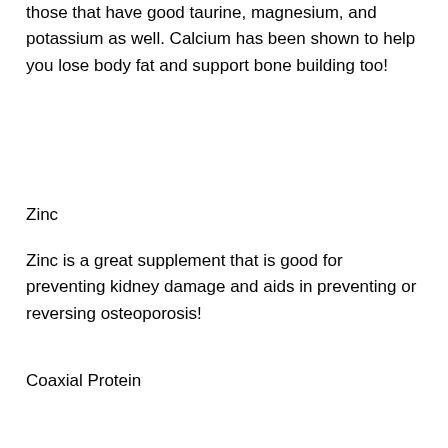those that have good taurine, magnesium, and potassium as well. Calcium has been shown to help you lose body fat and support bone building too!
Zinc
Zinc is a great supplement that is good for preventing kidney damage and aids in preventing or reversing osteoporosis!
Coaxial Protein
One of the most amazing forms of supplementation is protein, prednisone while hard on it is weight lose to. Not only will it help you lose weight, it'll also help you build lean muscle tissue – perfect!